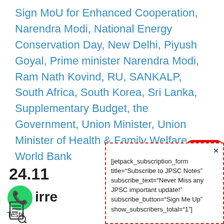Sign MoU for Enhanced Cooperation, Narendra Modi, National Energy Conservation Day, New Delhi, Piyush Goyal, Prime minister Narendra Modi, Ram Nath Kovind, RU, SANKALP, South Africa, South Korea, Sri Lanka, Supplementary Budget, the Government, Union Minister, Union Minister of Health & Family Welfare, World Bank
[Figure (logo): YouTube play button icon (red rounded rectangle with white triangle)]
24.11
[Figure (logo): WhatsApp phone icon (green circle with white phone handset)]
irre
[Figure (other): Document/tests icon]
Tests
[jetpack_subscription_form title="Subscribe to JPSC Notes" subscribe_text="Never Miss any JPSC important update!" subscribe_button="Sign Me Up" show_subscribers_total="1"]